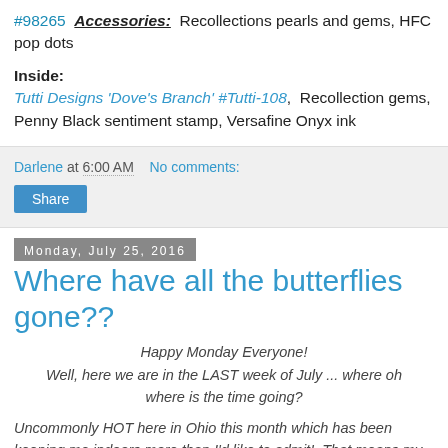#98265  Accessories:  Recollections pearls and gems, HFC pop dots
Inside:
Tutti Designs 'Dove's Branch' #Tutti-108,  Recollection gems, Penny Black sentiment stamp, Versafine Onyx ink
Darlene at 6:00 AM    No comments:
Share
Monday, July 25, 2016
Where have all the butterflies gone??
Happy Monday Everyone!
Well, here we are in the LAST week of July ... where oh where is the time going?
Uncommonly HOT here in Ohio this month which has been keeping me indoors more than I'd like to admit!  That means my flower beds are starting to look a little 'unattended' and I